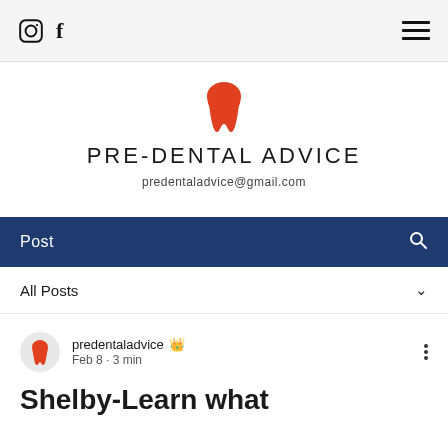Instagram | Facebook | Menu
[Figure (logo): Orange tooth icon logo for Pre-Dental Advice website]
PRE-DENTAL ADVICE
predentaladvice@gmail.com
Post
All Posts
predentaladvice 👑
Feb 8 · 3 min
Shelby-Learn what